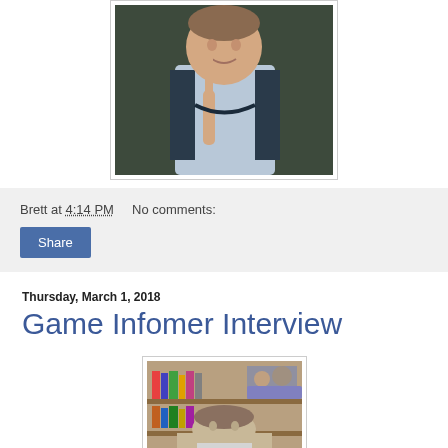[Figure (photo): Young man smiling, pointing index finger upward, wearing a light blue shirt and dark backpack, standing against a dark background]
Brett at 4:14 PM    No comments:
[Figure (other): Share button]
Thursday, March 1, 2018
Game Infomer Interview
[Figure (photo): Man sitting in front of bookshelf with books and figurines/collectibles, partial view of face]